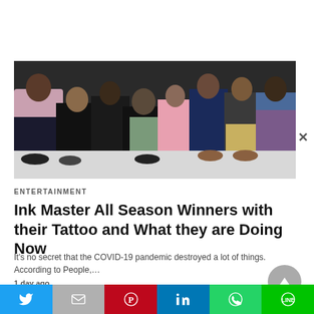[Figure (photo): Group photo of Ink Master season winners posing together, some kneeling, wearing various outfits against a dark background]
ENTERTAINMENT
Ink Master All Season Winners with their Tattoo and What they are Doing Now
It's no secret that the COVID-19 pandemic destroyed a lot of things. According to People,…
1 day ago